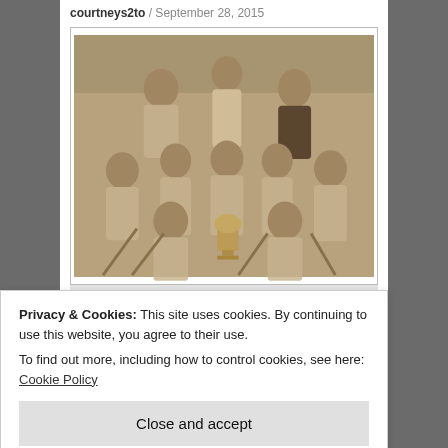courtneys2to / September 28, 2015
[Figure (photo): Black and white historical team photo showing approximately 10 men in athletic jerseys, some holding sticks (possibly lacrosse or hockey), with a trophy cup in the front center. Three rows: one man standing at top center and one on right, a middle row of five men, and two men seated in front.]
Photo from BrothersFosty.com
Privacy & Cookies: This site uses cookies. By continuing to use this website, you agree to their use.
To find out more, including how to control cookies, see here: Cookie Policy
in its evolution, ambitions, character, tensions and